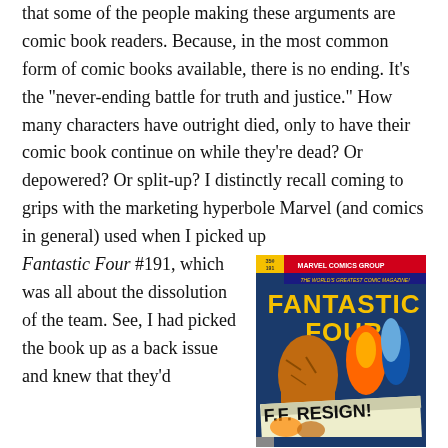that some of the people making these arguments are comic book readers. Because, in the most common form of comic books available, there is no ending. It's the "never-ending battle for truth and justice." How many characters have outright died, only to have their comic book continue on while they're dead? Or depowered? Or split-up? I distinctly recall coming to grips with the marketing hyperbole Marvel (and comics in general) used when I picked up Fantastic Four #191, which was all about the dissolution of the team. See, I had picked the book up as a back issue and knew that they'd
[Figure (illustration): Cover of Fantastic Four #191 comic book, Marvel Comics Group. Shows the Fantastic Four characters with a newspaper headline reading 'F.F. RESIGN'. The cover reads 'THE WORLD'S GREATEST COMIC MAGAZINE!' and shows 35 cents price.]